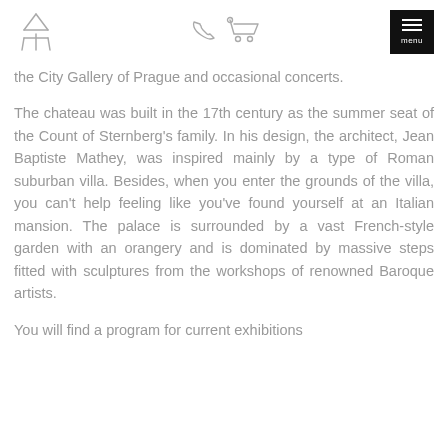[Logo] [Phone icon] [Cart icon] [Menu button]
the City Gallery of Prague and occasional concerts.
The chateau was built in the 17th century as the summer seat of the Count of Sternberg's family. In his design, the architect, Jean Baptiste Mathey, was inspired mainly by a type of Roman suburban villa. Besides, when you enter the grounds of the villa, you can't help feeling like you've found yourself at an Italian mansion. The palace is surrounded by a vast French-style garden with an orangery and is dominated by massive steps fitted with sculptures from the workshops of renowned Baroque artists.
You will find a program for current exhibitions